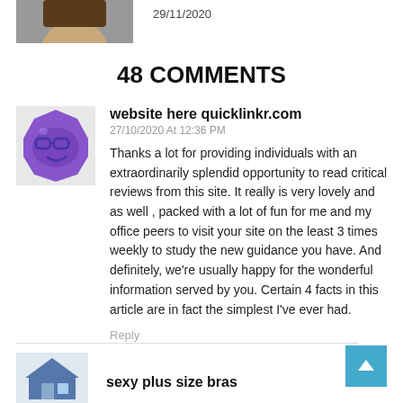[Figure (photo): Partial photo of a person at top left]
29/11/2020
48 COMMENTS
[Figure (illustration): Purple emoji-style avatar icon with glasses]
website here quicklinkr.com
27/10/2020 At 12:36 PM
Thanks a lot for providing individuals with an extraordinarily splendid opportunity to read critical reviews from this site. It really is very lovely and as well , packed with a lot of fun for me and my office peers to visit your site on the least 3 times weekly to study the new guidance you have. And definitely, we're usually happy for the wonderful information served by you. Certain 4 facts in this article are in fact the simplest I've ever had.
Reply
[Figure (illustration): House/home icon avatar at bottom]
sexy plus size bras